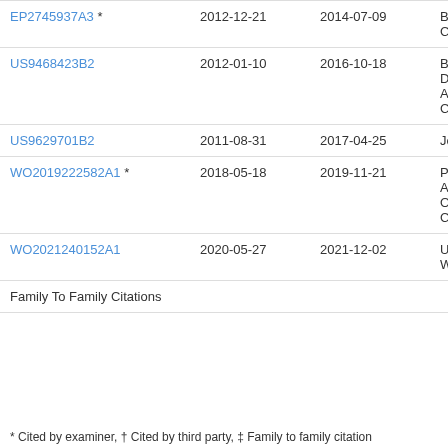| Publication | Filing Date | Publication Date | Assignee |
| --- | --- | --- | --- |
| EP2745937A3 * | 2012-12-21 | 2014-07-09 | Be… Co. |
| US9468423B2 | 2012-01-10 | 2016-10-18 | Bec Dic Ano Con |
| US9629701B2 | 2011-08-31 | 2017-04-25 | Jon |
| WO2019222582A1 * | 2018-05-18 | 2019-11-21 | Pre Ano Of Col |
| WO2021240152A1 | 2020-05-27 | 2021-12-02 | Uni Wa |
| Family To Family Citations |  |  |  |
* Cited by examiner, † Cited by third party, ‡ Family to family citation